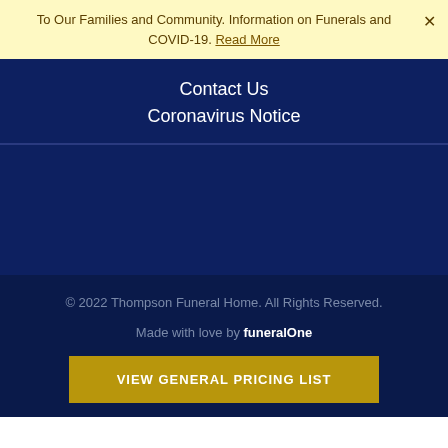To Our Families and Community. Information on Funerals and COVID-19. Read More ×
Contact Us
Coronavirus Notice
© 2022 Thompson Funeral Home. All Rights Reserved.
Made with love by funeralOne
VIEW GENERAL PRICING LIST